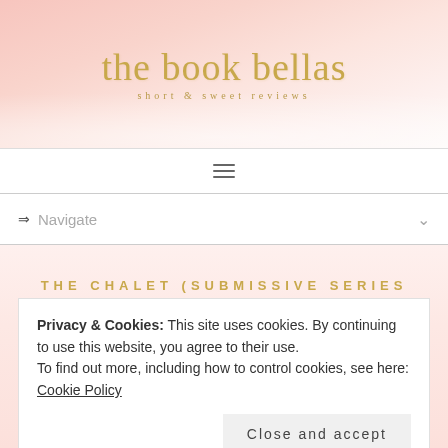[Figure (logo): The Book Bellas blog header with pink watercolor background, cursive gold title 'the book bellas' and subtitle 'short & sweet reviews']
☰
⇒ Navigate
THE CHALET (SUBMISSIVE SERIES
Privacy & Cookies: This site uses cookies. By continuing to use this website, you agree to their use.
To find out more, including how to control cookies, see here: Cookie Policy
Close and accept
[Figure (photo): Book cover bottom strip showing blue gradient with text 'TARA SUE ME']